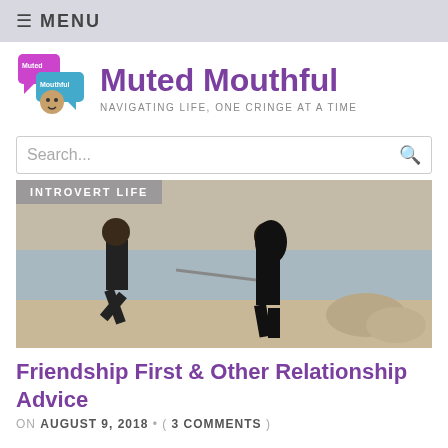≡ MENU
Muted Mouthful
NAVIGATING LIFE, ONE CRINGE AT A TIME
Search...
[Figure (photo): Two people in black clothing on a rocky beach, one kicking at the other who is pushing back; category label reads INTROVERT LIFE]
Friendship First & Other Relationship Advice
ON AUGUST 9, 2018 • ( 3 COMMENTS )